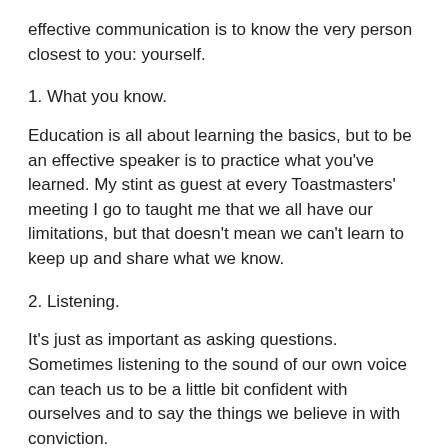effective communication is to know the very person closest to you: yourself.
1. What you know.
Education is all about learning the basics, but to be an effective speaker is to practice what you've learned. My stint as guest at every Toastmasters' meeting I go to taught me that we all have our limitations, but that doesn't mean we can't learn to keep up and share what we know.
2. Listening.
It's just as important as asking questions. Sometimes listening to the sound of our own voice can teach us to be a little bit confident with ourselves and to say the things we believe in with conviction.
3. Humility
We all make mistakes, and sometimes we tend to slur our